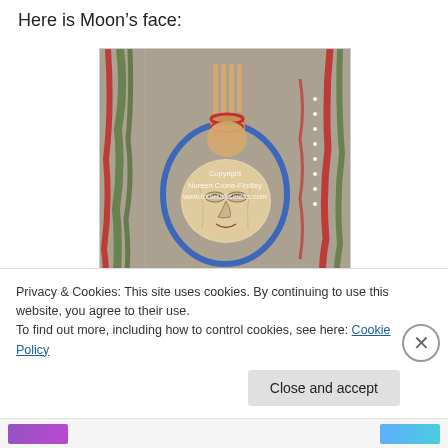Here is Moon's face:
[Figure (photo): A textile/fiber art piece showing Moon's face - a carved wooden face medallion with eyes closed, surrounded by colorful knitting/weaving in red, green, blue, and grey. A wooden fork-like tool is visible above. Watermark reads 'Copyright Noreen Crone-Findlay www.tottietalkscrafts.com']
Privacy & Cookies: This site uses cookies. By continuing to use this website, you agree to their use.
To find out more, including how to control cookies, see here: Cookie Policy
Close and accept